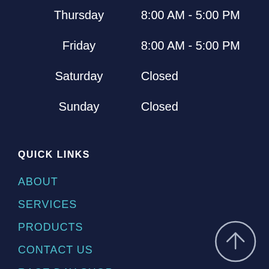| Day | Hours |
| --- | --- |
| Thursday | 8:00 AM - 5:00 PM |
| Friday | 8:00 AM - 5:00 PM |
| Saturday | Closed |
| Sunday | Closed |
QUICK LINKS
ABOUT
SERVICES
PRODUCTS
CONTACT US
RACE DAY SHOP
[Figure (other): Back to top arrow button — circular outline with upward arrow icon]